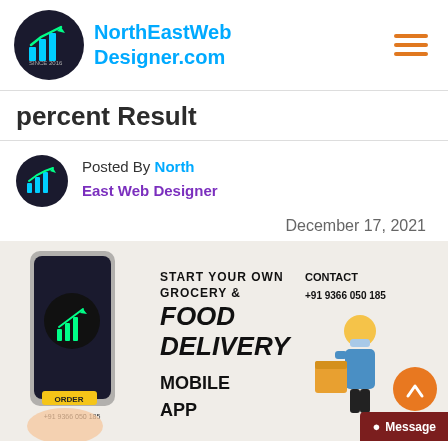[Figure (logo): NorthEastWebDesigner.com logo with circular dark icon showing bar chart and arrow, and blue text name beside it, plus hamburger menu icon on the right]
percent Result
Posted By North East Web Designer
December 17, 2021
[Figure (infographic): Promotional banner for food delivery mobile app. Shows a hand holding a smartphone with NorthEastWebDesigner logo on screen. Text reads START YOUR OWN GROCERY & FOOD DELIVERY MOBILE APP. CONTACT +91 9366 050 185. +91 9366 050 185 at bottom. ORDER button visible. Delivery person illustration on the right. Orange scroll-to-top button and dark red Message button in corner.]